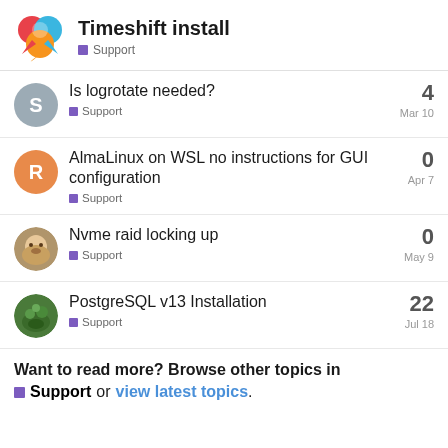Timeshift install — Support
Is logrotate needed? — Support — 4 replies — Mar 10
AlmaLinux on WSL no instructions for GUI configuration — Support — 0 replies — Apr 7
Nvme raid locking up — Support — 0 replies — May 9
PostgreSQL v13 Installation — Support — 22 replies — Jul 18
Want to read more? Browse other topics in Support or view latest topics.